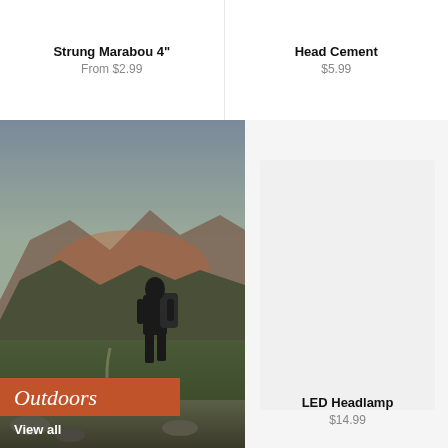Strung Marabou 4"
From $2.99
Head Cement
$5.99
[Figure (photo): Hiker with backpack standing on a mountain trail overlooking a green valley with mountain peaks in the background at dusk. An orange banner reads 'Outdoors' with 'View all' text below.]
[Figure (photo): Light gray/white placeholder image for LED Headlamp product]
LED Headlamp
$14.99